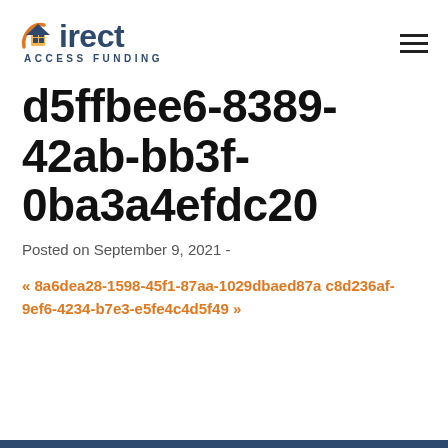[Figure (logo): Direct Access Funding logo with house icon]
d5ffbee6-8389-42ab-bb3f-0ba3a4efdc20
Posted on September 9, 2021 -
« 8a6dea28-1598-45f1-87aa-1029dbaed87a c8d236af-9ef6-4234-b7e3-e5fe4c4d5f49 »